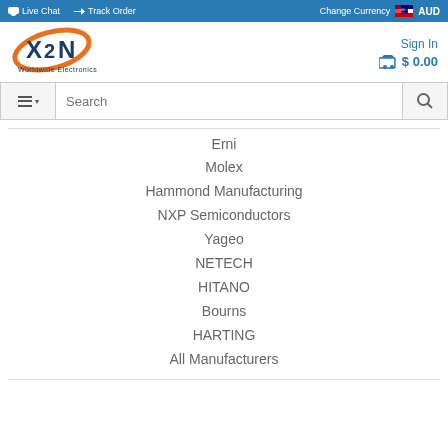Live Chat  Track Order  Change Currency  AUD
[Figure (logo): X2N Worldwide Electronics logo with orange swoosh and blue X2N letters]
Sign In  $ 0.00
Erni
Molex
Hammond Manufacturing
NXP Semiconductors
Yageo
NETECH
HITANO
Bourns
HARTING
All Manufacturers